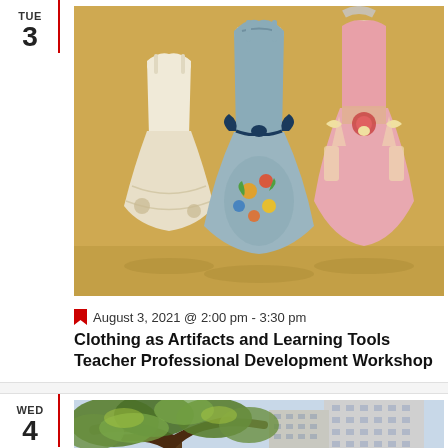TUE
3
[Figure (photo): Three vintage dresses on mannequins displayed against a beige/golden background. Left dress is white/cream lace, center dress is blue satin with floral embroidery and bow, right dress is pink with decorative elements.]
August 3, 2021 @ 2:00 pm - 3:30 pm
Clothing as Artifacts and Learning Tools Teacher Professional Development Workshop
WED
4
[Figure (photo): Outdoor scene showing a large oak tree in the foreground with a tall building visible in the background, city setting.]